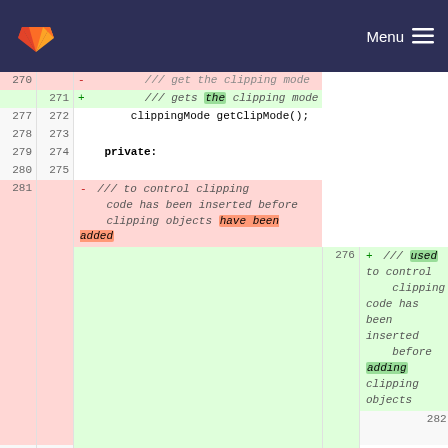[Figure (screenshot): GitLab navigation bar with fox logo and Menu hamburger button]
Code diff view showing C++ header file changes. Lines 277-301 with line number columns for old and new versions. Shows removed and added comment blocks and code lines including clippingMode getClipMode(), private:, bool m_hasClippingCodeBeenInserted, and public:.